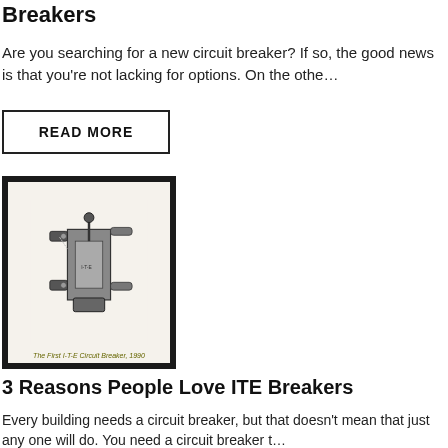Breakers
Are you searching for a new circuit breaker? If so, the good news is that you're not lacking for options. On the othe…
READ MORE
[Figure (photo): Framed photograph of the first I-T-E Circuit Breaker, 1990, showing a mechanical circuit breaker device in black and white with caption 'The First I-T-E Circuit Breaker, 1990']
3 Reasons People Love ITE Breakers
Every building needs a circuit breaker, but that doesn't mean that just any one will do. You need a circuit breaker t…